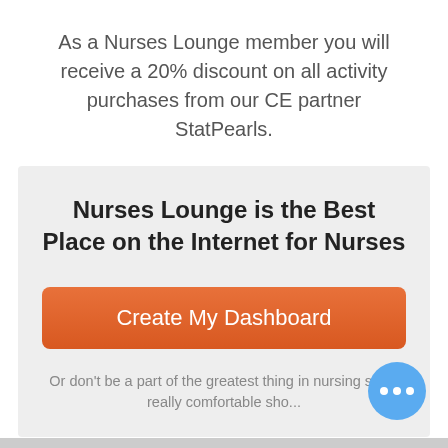As a Nurses Lounge member you will receive a 20% discount on all activity purchases from our CE partner StatPearls.
Nurses Lounge is the Best Place on the Internet for Nurses
Create My Dashboard
Or don't be a part of the greatest thing in nursing since really comfortable sho...